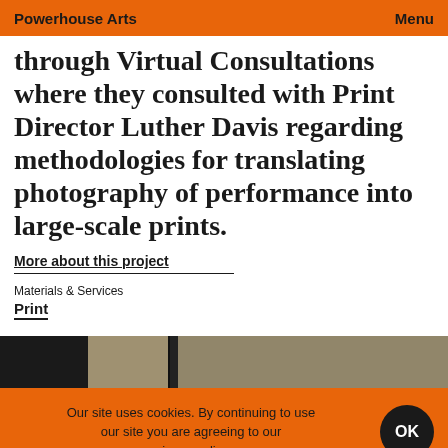Powerhouse Arts   Menu
through Virtual Consultations where they consulted with Print Director Luther Davis regarding methodologies for translating photography of performance into large-scale prints.
More about this project
Materials & Services
Print
[Figure (photo): Partial view of photographs/artworks in a dark strip]
Our site uses cookies. By continuing to use our site you are agreeing to our privacy policy.
[Figure (photo): Bottom strip showing partial artwork images]